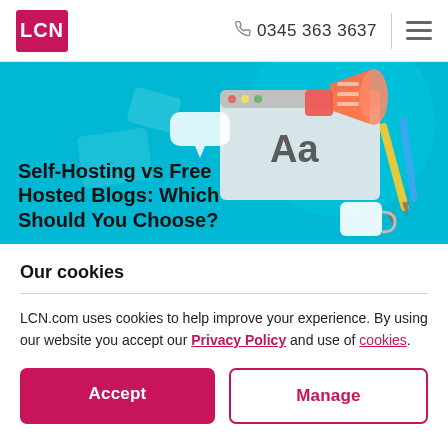LCN  0345 363 3637
[Figure (illustration): Hero banner with teal/cyan background showing a blog/website illustration with a megaphone, browser window with 'Aa' text, pencils/pens, and a coffee cup. Title overlay: 'Self-Hosting vs Free Hosted Blogs: Which Should You Choose?']
Self-Hosting vs Free Hosted Blogs: Which Should You Choose?
Our cookies
LCN.com uses cookies to help improve your experience. By using our website you accept our Privacy Policy and use of cookies.